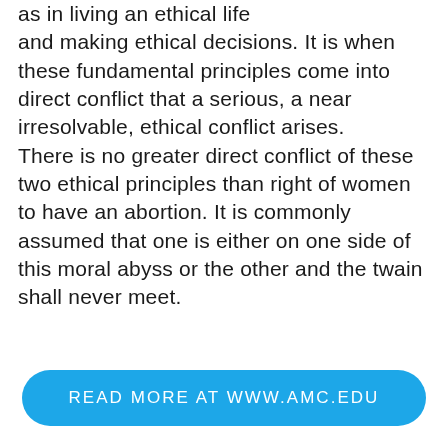as in living an ethical life and making ethical decisions. It is when these fundamental principles come into direct conflict that a serious, a near irresolvable, ethical conflict arises. There is no greater direct conflict of these two ethical principles than right of women to have an abortion. It is commonly assumed that one is either on one side of this moral abyss or the other and the twain shall never meet.
READ MORE AT WWW.AMC.EDU